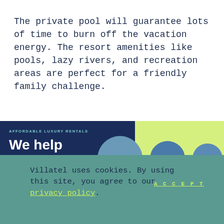The private pool will guarantee lots of time to burn off the vacation energy. The resort amenities like pools, lazy rivers, and recreation areas are perfect for a friendly family challenge.
[Figure (screenshot): Partial screenshot of Villatel website showing dark navy banner with 'AFFORDABLE LUXURY RENTALS' tagline and 'We help' headline, with a light green section and circular property images]
Villatel uses cookies. By using this site, you agree to our privacy policy.
ACCEPT